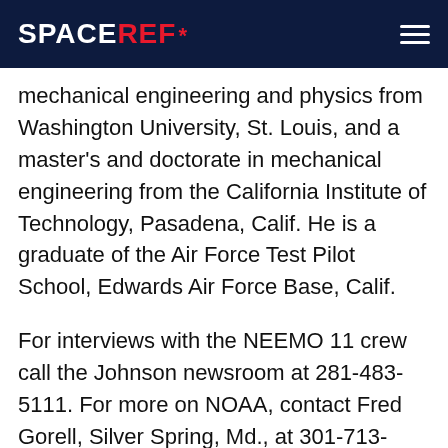SPACEREF*
mechanical engineering and physics from Washington University, St. Louis, and a master's and doctorate in mechanical engineering from the California Institute of Technology, Pasadena, Calif. He is a graduate of the Air Force Test Pilot School, Edwards Air Force Base, Calif.
For interviews with the NEEMO 11 crew call the Johnson newsroom at 281-483-5111. For more on NOAA, contact Fred Gorell, Silver Spring, Md., at 301-713-9444, ext. 181. Through NASA's Digital Learning Network